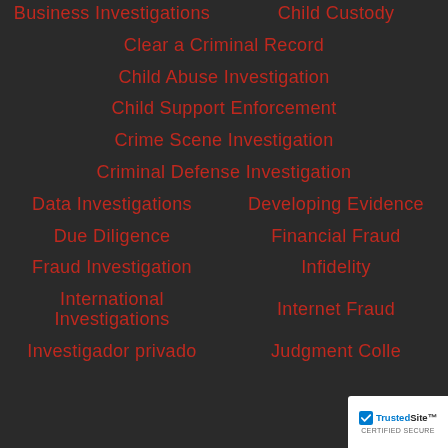Business Investigations
Child Custody
Clear a Criminal Record
Child Abuse Investigation
Child Support Enforcement
Crime Scene Investigation
Criminal Defense Investigation
Data Investigations
Developing Evidence
Due Diligence
Financial Fraud
Fraud Investigation
Infidelity
International Investigations
Internet Fraud
Investigador privado
Judgment Colle…
[Figure (logo): TrustedSite Certified Secure badge]